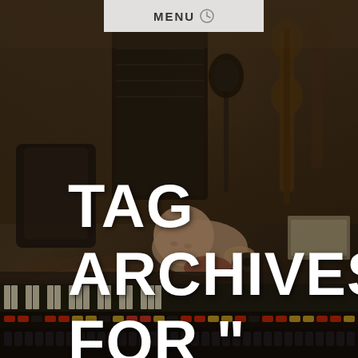MENU
[Figure (photo): Background photo of a music recording studio showing a mixing console in the foreground with faders and knobs, a baby/infant resting on the console, guitars hanging on the wall in the background, and various studio equipment. The image is darkened/muted with a brown/sepia overlay.]
TAG ARCHIVES FOR " AMY LEE "